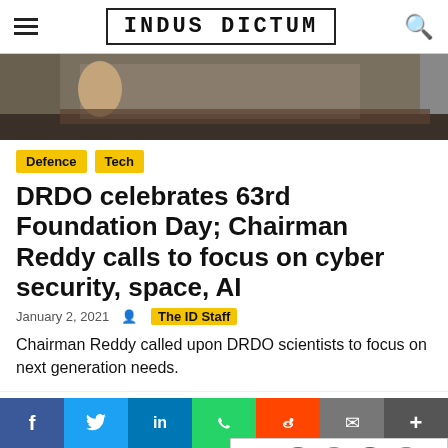INDUS DICTUM
[Figure (photo): Hero image showing people sitting at a desk/table, partial view, top portion cut off]
Defence  Tech
DRDO celebrates 63rd Foundation Day; Chairman Reddy calls to focus on cyber security, space, AI
January 2, 2021   The ID Staff
Chairman Reddy called upon DRDO scientists to focus on next generation needs.
[Figure (photo): Photo of PM Modi speaking, Indian flag in background]
PM Modi lays foundation stone of 6 Light House Projects in 6 states
January 2, 202
Follow
f  y  in  WhatsApp  Reddit  Email  +